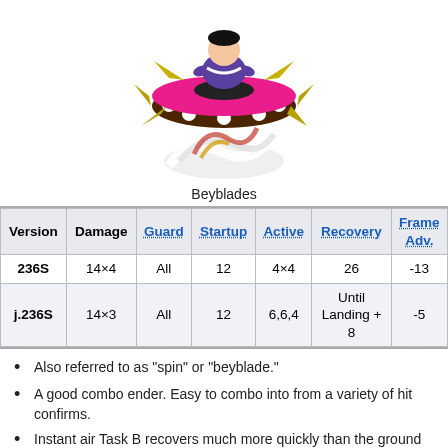[Figure (illustration): Animated character spinning on top of a large beyblade/spinning top with spikes, colorful and stylized game art.]
Beyblades
| Version | Damage | Guard | Startup | Active | Recovery | Frame Adv. |
| --- | --- | --- | --- | --- | --- | --- |
| 236S | 14×4 | All | 12 | 4×4 | 26 | -13 |
| j.236S | 14×3 | All | 12 | 6,6,4 | Until Landing + 8 | -5 |
Also referred to as "spin" or "beyblade."
A good combo ender. Easy to combo into from a variety of hit confirms.
Instant air Task B recovers much more quickly than the ground version.
Air Task B YRC will retain a lot of momentum of the move, so